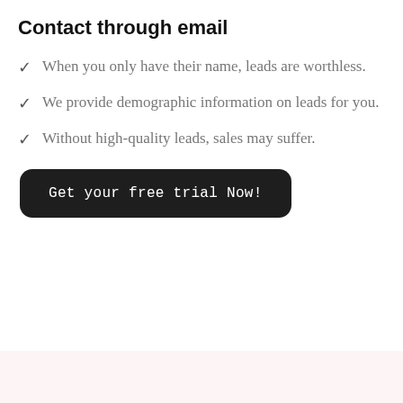Contact through email
When you only have their name, leads are worthless.
We provide demographic information on leads for you.
Without high-quality leads, sales may suffer.
Get your free trial Now!